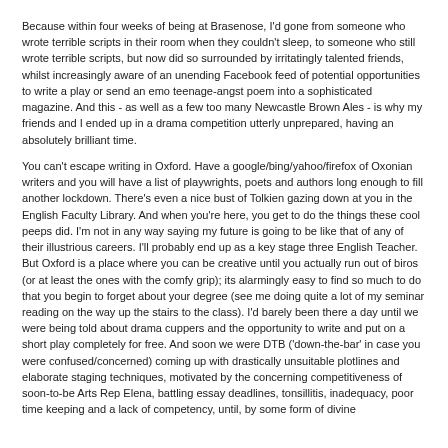Because within four weeks of being at Brasenose, I'd gone from someone who wrote terrible scripts in their room when they couldn't sleep, to someone who still wrote terrible scripts, but now did so surrounded by irritatingly talented friends, whilst increasingly aware of an unending Facebook feed of potential opportunities to write a play or send an emo teenage-angst poem into a sophisticated magazine. And this - as well as a few too many Newcastle Brown Ales - is why my friends and I ended up in a drama competition utterly unprepared, having an absolutely brilliant time.
You can't escape writing in Oxford. Have a google/bing/yahoo/firefox of Oxonian writers and you will have a list of playwrights, poets and authors long enough to fill another lockdown. There's even a nice bust of Tolkien gazing down at you in the English Faculty Library. And when you're here, you get to do the things these cool peeps did. I'm not in any way saying my future is going to be like that of any of their illustrious careers. I'll probably end up as a key stage three English Teacher. But Oxford is a place where you can be creative until you actually run out of biros (or at least the ones with the comfy grip); its alarmingly easy to find so much to do that you begin to forget about your degree (see me doing quite a lot of my seminar reading on the way up the stairs to the class). I'd barely been there a day until we were being told about drama cuppers and the opportunity to write and put on a short play completely for free. And soon we were DTB ('down-the-bar' in case you were confused/concerned) coming up with drastically unsuitable plotlines and elaborate staging techniques, motivated by the concerning competitiveness of soon-to-be Arts Rep Elena, battling essay deadlines, tonsillitis, inadequacy, poor time keeping and a lack of competency, until, by some form of divine